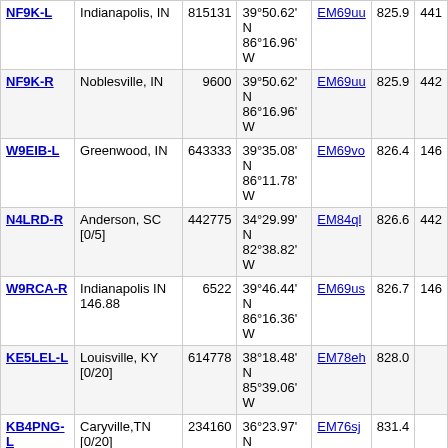| Callsign | Location | Node | Coordinates | Grid | Dist | Freq |
| --- | --- | --- | --- | --- | --- | --- |
| NF9K-L | Indianapolis, IN | 815131 | 39°50.62' N 86°16.96' W | EM69uu | 825.9 | 441 |
| NF9K-R | Noblesville, IN | 9600 | 39°50.62' N 86°16.96' W | EM69uu | 825.9 | 442 |
| W9EIB-L | Greenwood, IN | 643333 | 39°35.08' N 86°11.78' W | EM69vo | 826.4 | 146 |
| N4LRD-R | Anderson, SC [0/5] | 442775 | 34°29.99' N 82°38.82' W | EM84ql | 826.6 | 442 |
| W9RCA-R | Indianapolis IN 146.88 | 6522 | 39°46.44' N 86°16.36' W | EM69us | 826.7 | 146 |
| KE5LEL-L | Louisville, KY [0/20] | 614778 | 38°18.48' N 85°39.06' W | EM78eh | 828.0 |  |
| KB4PNG-L | Caryville,TN [0/20] | 234160 | 36°23.97' N 84°29.81' W | EM76sj | 831.4 |  |
| N9EDS-L | Indiana | 235199 | 39°45.00' N 86°24.00' W | EM69ts | 833.7 |  |
| KF4RC-R | Franklin, NC | 400632 | 35°00.02' N 83°20.00' W | EM85ia | 833.9 | 145 |
| N2ZZ-R | Aiken, SC | 5764 | 33°34.30' N 81°45.70' W | EM93cn | 835.5 | 145 |
| KE9CG-L | New Albany, IN [0/20] | 792010 | 38°17.19' N 85°49.45' W | EM78cg | 837.2 |  |
| K4KVE-L | Robbinsville, NC [0/20] | 865773 | 35°20.18' N 83°46.70' W | EM85ci | 839.5 |  |
| W5EDQ-L | Rugby,TN [0/20] | 297121 | 36°21.74' N 84°41.96' W | EM76pi | 842.3 |  |